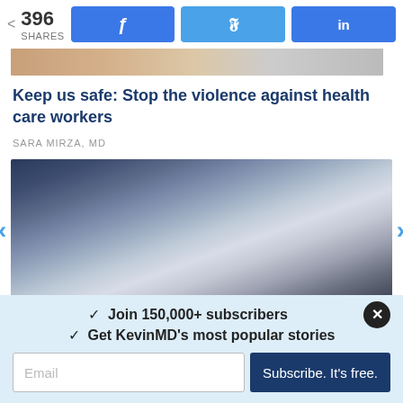396 SHARES
[Figure (screenshot): Social share bar with Facebook, Twitter, LinkedIn buttons]
[Figure (photo): Partial photo at top of page, skin-toned background]
Keep us safe: Stop the violence against health care workers
SARA MIRZA, MD
[Figure (photo): Close-up photograph of a medical stethoscope on a dark blue surface]
✓  Join 150,000+ subscribers
✓  Get KevinMD's most popular stories
Email
Subscribe. It's free.